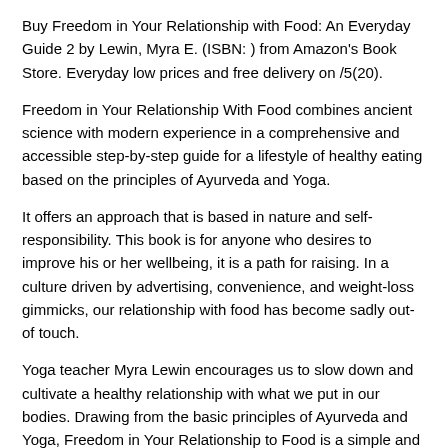Buy Freedom in Your Relationship with Food: An Everyday Guide 2 by Lewin, Myra E. (ISBN: ) from Amazon's Book Store. Everyday low prices and free delivery on /5(20).
Freedom in Your Relationship With Food combines ancient science with modern experience in a comprehensive and accessible step-by-step guide for a lifestyle of healthy eating based on the principles of Ayurveda and Yoga.
It offers an approach that is based in nature and self-responsibility. This book is for anyone who desires to improve his or her wellbeing, it is a path for raising. In a culture driven by advertising, convenience, and weight-loss gimmicks, our relationship with food has become sadly out-of touch.
Yoga teacher Myra Lewin encourages us to slow down and cultivate a healthy relationship with what we put in our bodies. Drawing from the basic principles of Ayurveda and Yoga, Freedom in Your Relationship to Food is a simple and effective guide to enhancing your 3/5(2). Book Description. Freedom in Your Relationship with Food is an essential